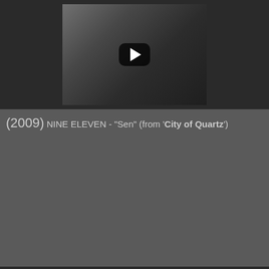[Figure (screenshot): YouTube video embed showing black and white engraving image with dark play button overlay]
(2009) NINE ELEVEN - "Sen" (from 'City of Quartz')
[Figure (screenshot): YouTube video embed for NINE ELEVEN - Sen, showing channel icon, video title, three-dot menu, thumbnail with person's face and red YouTube play button]